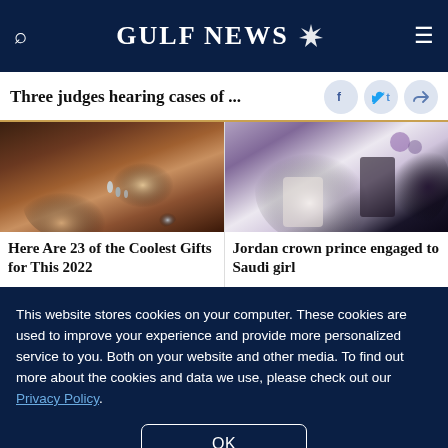GULF NEWS
Three judges hearing cases of ...
[Figure (photo): Close-up of hands holding jewelry or water droplets with bokeh background]
Here Are 23 of the Coolest Gifts for This 2022
[Figure (photo): Jordan crown prince and Saudi girl seated together at engagement ceremony]
Jordan crown prince engaged to Saudi girl
This website stores cookies on your computer. These cookies are used to improve your experience and provide more personalized service to you. Both on your website and other media. To find out more about the cookies and data we use, please check out our Privacy Policy.
OK